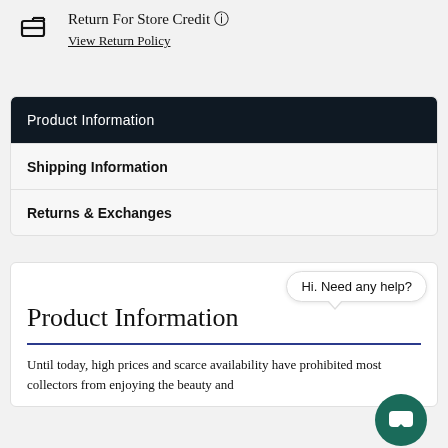Return For Store Credit (?) View Return Policy
Product Information
Shipping Information
Returns & Exchanges
Product Information
Until today, high prices and scarce availability have prohibited most collectors from enjoying the beauty and